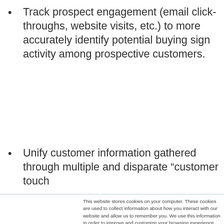Track prospect engagement (email click-throughs, website visits, etc.) to more accurately identify potential buying sign activity among prospective customers.
Unify customer information gathered through multiple and disparate “customer touch
This website stores cookies on your computer. These cookies are used to collect information about how you interact with our website and allow us to remember you. We use this information in order to improve and customize your browsing experience and for analytics and metrics about our visitors both on this website and other media. To find out more about the cookies we use, see our Privacy Policy. California residents have the right to direct us not to sell their personal information to third parties by filing an Opt-Out Request: Do Not Sell My Personal Info.
Accept